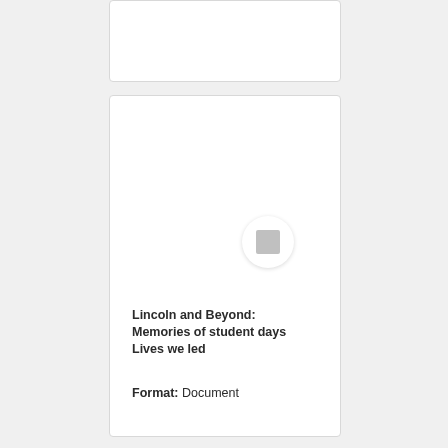[Figure (illustration): Partially visible white card at the top of the page]
[Figure (illustration): White card with a circular avatar icon containing a small grey square placeholder image]
Lincoln and Beyond: Memories of student days Lives we led
Format: Document